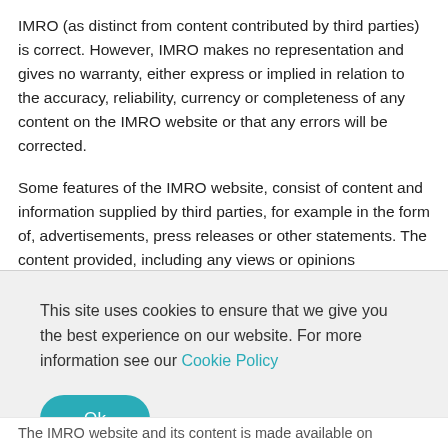IMRO (as distinct from content contributed by third parties) is correct. However, IMRO makes no representation and gives no warranty, either express or implied in relation to the accuracy, reliability, currency or completeness of any content on the IMRO website or that any errors will be corrected.
Some features of the IMRO website, consist of content and information supplied by third parties, for example in the form of, advertisements, press releases or other statements. The content provided, including any views or opinions expressed by third parties are not those of
This site uses cookies to ensure that we give you the best experience on our website. For more information see our Cookie Policy
Ok
The IMRO website and its content is made available on